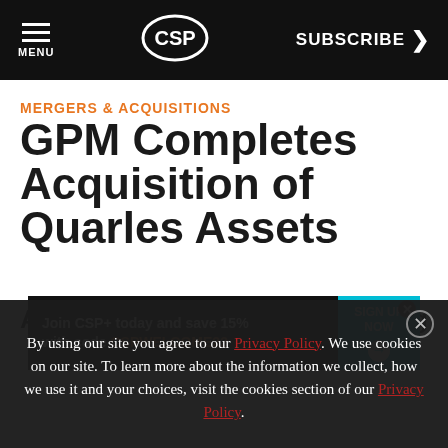MENU | CSP | SUBSCRIBE >
MERGERS & ACQUISITIONS
GPM Completes Acquisition of Quarles Assets
ARK...ng
[Figure (infographic): Advertisement banner: Join CSP+ today and save 15% with code CSPWELCOME22. Sign Up Now button.]
By using our site you agree to our Privacy Policy. We use cookies on our site. To learn more about the information we collect, how we use it and your choices, visit the cookies section of our Privacy Policy.